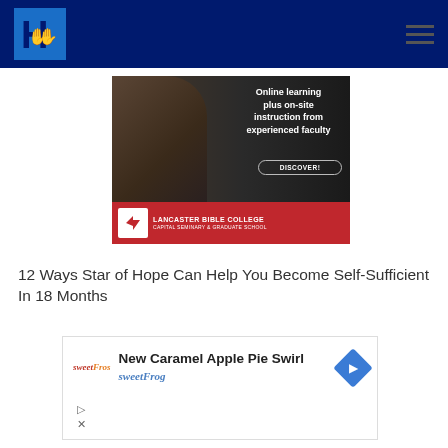H (logo with hands) — hamburger menu
[Figure (photo): Lancaster Bible College advertisement showing a smiling woman in scrubs with overlay text 'Online learning plus on-site instruction from experienced faculty' and a DISCOVER button, with red footer bar showing Lancaster Bible College Capital Seminary & Graduate School logo]
12 Ways Star of Hope Can Help You Become Self-Sufficient In 18 Months
[Figure (screenshot): sweetFrog advertisement showing 'New Caramel Apple Pie Swirl' with sweetFrog branding and a blue diamond arrow icon, with play and close controls]